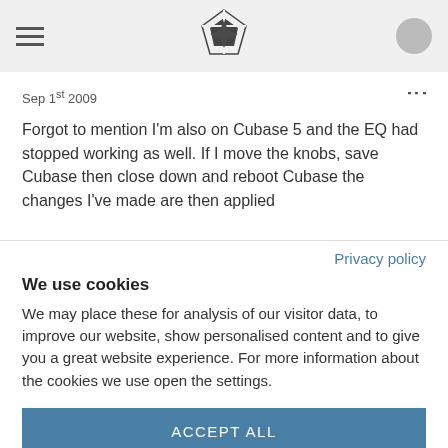[navigation header with hamburger menu, logo, and user icon]
Sep 1st 2009
Forgot to mention I'm also on Cubase 5 and the EQ had stopped working as well. If I move the knobs, save Cubase then close down and reboot Cubase the changes I've made are then applied
Privacy policy
We use cookies
We may place these for analysis of our visitor data, to improve our website, show personalised content and to give you a great website experience. For more information about the cookies we use open the settings.
ACCEPT ALL
DENY ALL
MANAGE SETTINGS